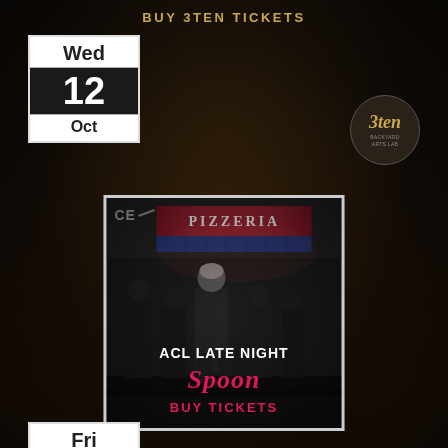BUY 3TEN TICKETS
Wed
12
Oct
[Figure (logo): 3ten music venue circular logo with stylized text]
[Figure (photo): Black and white photo of band (Spoon) standing outside a pizzeria at night]
ACL LATE NIGHT
Spoon
BUY TICKETS
Fri